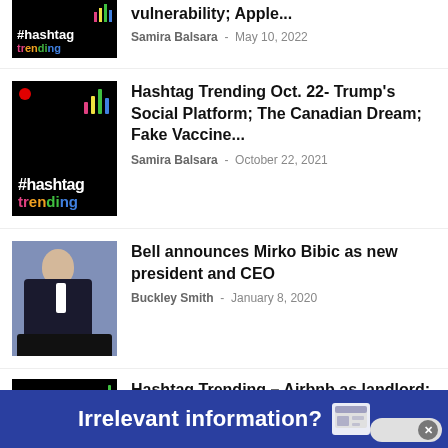[Figure (screenshot): Partial #hashtag trending podcast thumbnail at top]
vulnerability; Apple...
Samira Balsara - May 10, 2022
[Figure (screenshot): #hashtag trending podcast thumbnail]
Hashtag Trending Oct. 22- Trump's Social Platform; The Canadian Dream; Fake Vaccine...
Samira Balsara - October 22, 2021
[Figure (photo): Photo of Mirko Bibic speaking at a podium]
Bell announces Mirko Bibic as new president and CEO
Buckley Smith - January 8, 2020
[Figure (screenshot): Partial hashtag trending thumbnail]
Hashtag Trending – Airbnb as landlord; content marketing is broken; Trump's SEO...
Irrelevant information?